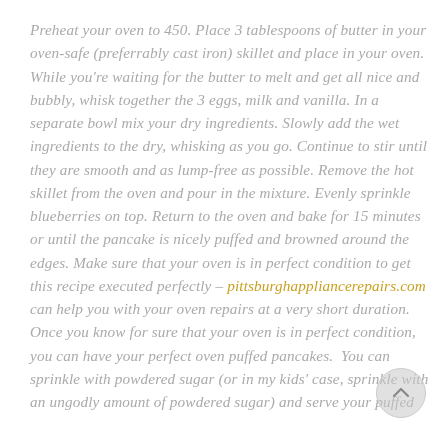Preheat your oven to 450. Place 3 tablespoons of butter in your oven-safe (preferrably cast iron) skillet and place in your oven. While you're waiting for the butter to melt and get all nice and bubbly, whisk together the 3 eggs, milk and vanilla. In a separate bowl mix your dry ingredients. Slowly add the wet ingredients to the dry, whisking as you go. Continue to stir until they are smooth and as lump-free as possible. Remove the hot skillet from the oven and pour in the mixture. Evenly sprinkle blueberries on top. Return to the oven and bake for 15 minutes or until the pancake is nicely puffed and browned around the edges. Make sure that your oven is in perfect condition to get this recipe executed perfectly – pittsburghappliancerepairs.com can help you with your oven repairs at a very short duration.  Once you know for sure that your oven is in perfect condition, you can have your perfect oven puffed pancakes.  You can sprinkle with powdered sugar (or in my kids' case, sprinkle with an ungodly amount of powdered sugar) and serve your puffed